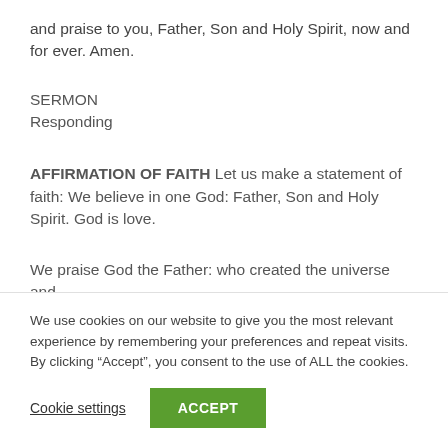and praise to you, Father, Son and Holy Spirit, now and for ever. Amen.
SERMON
Responding
AFFIRMATION OF FAITH Let us make a statement of faith: We believe in one God: Father, Son and Holy Spirit. God is love.
We praise God the Father: who created the universe and
We use cookies on our website to give you the most relevant experience by remembering your preferences and repeat visits. By clicking “Accept”, you consent to the use of ALL the cookies.
Cookie settings
ACCEPT